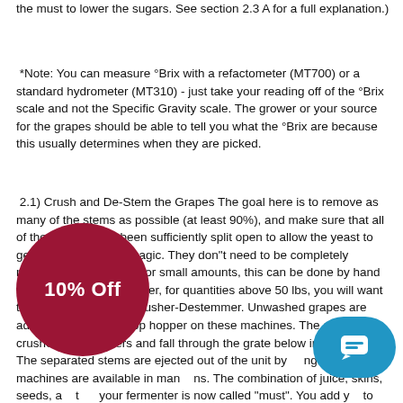the must to lower the sugars. See section 2.3 A for a full explanation.)
*Note: You can measure °Brix with a refactometer (MT700) or a standard hydrometer (MT310) - just take your reading off of the °Brix scale and not the Specific Gravity scale. The grower or your source for the grapes should be able to tell you what the °Brix are because this usually determines when they are picked.
2.1) Crush and De-Stem the Grapes The goal here is to remove as many of the stems as possible (at least 90%), and make sure that all of the berries have been sufficiently split open to allow the yeast to get in and work their magic. They don"t need to be completely mashed, just cracked. For small amounts, this can be done by hand with a mesh bag. However, for quantities above 50 lbs, you will want to purchase or rent a Crusher-Destemmer. Unwashed grapes are added directly to the top hopper on these machines. The grapes are crushed by the rollers and fall through the grate below into w...ter. The separated stems are ejected out of the unit by ...ng bar." These machines are available in man...ns. The combination of juice, skins, seeds, a...t...your fermenter is now called "must". You add y...to the must to perform fermentation. Red wines are fermented in